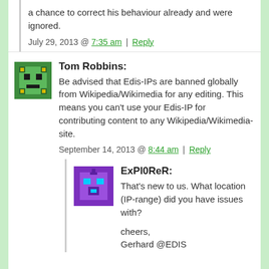a chance to correct his behaviour already and were ignored.
July 29, 2013 @ 7:35 am | Reply
Tom Robbins: Be advised that Edis-IPs are banned globally from Wikipedia/Wikimedia for any editing. This means you can't use your Edis-IP for contributing content to any Wikipedia/Wikimedia-site.
September 14, 2013 @ 8:44 am | Reply
ExPl0ReR: That's new to us. What location (IP-range) did you have issues with? cheers, Gerhard @EDIS